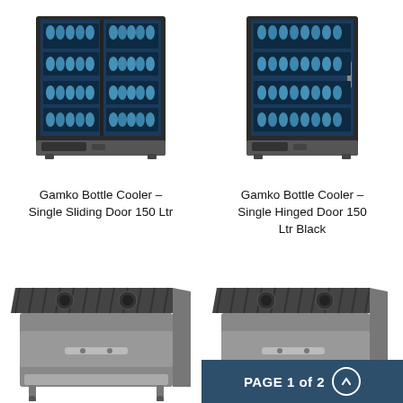[Figure (photo): Gamko bottle cooler with two sliding glass doors, filled with bottles, black frame, front view]
[Figure (photo): Gamko bottle cooler with single hinged glass door, filled with bottles, black frame, front view]
Gamko Bottle Cooler - Single Sliding Door 150 Ltr
Gamko Bottle Cooler - Single Hinged Door 150 Ltr Black
[Figure (photo): Stainless steel grill cart / cooker with ridged top surface and open shelf base, angled view]
[Figure (photo): Stainless steel grill cart / cooker with ridged top surface, angled view, partially cropped]
PAGE 1 of 2